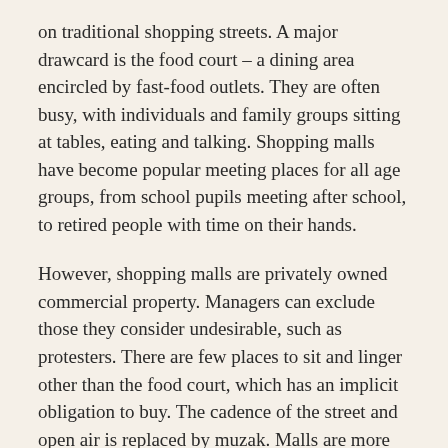on traditional shopping streets. A major drawcard is the food court – a dining area encircled by fast-food outlets. They are often busy, with individuals and family groups sitting at tables, eating and talking. Shopping malls have become popular meeting places for all age groups, from school pupils meeting after school, to retired people with time on their hands.
However, shopping malls are privately owned commercial property. Managers can exclude those they consider undesirable, such as protesters. There are few places to sit and linger other than the food court, which has an implicit obligation to buy. The cadence of the street and open air is replaced by muzak. Malls are more uniform and less varied than traditional public squares.
Shoplifting is a major problem for mall managers and